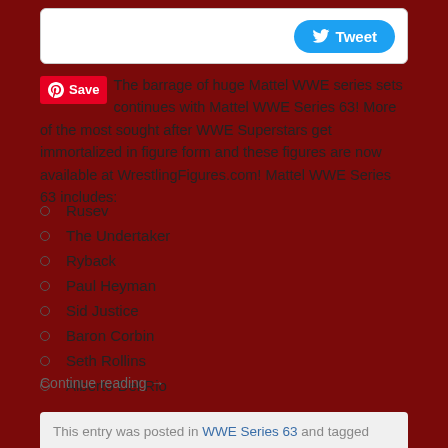[Figure (other): Twitter Tweet button bar at top]
The barrage of huge Mattel WWE series sets continues with Mattel WWE Series 63! More of the most sought after WWE Superstars get immortalized in figure form and these figures are now available at WrestlingFigures.com! Mattel WWE Series 63 includes:
Rusev
The Undertaker
Ryback
Paul Heyman
Sid Justice
Baron Corbin
Seth Rollins
Alberto Del Rio
Continue reading →
This entry was posted in WWE Series 63 and tagged Alberto Del Rio, Baron Corbin, Mattel, mattel wwe toys, Mattel WWE wrestling figures, Paul Heyman, Baron...